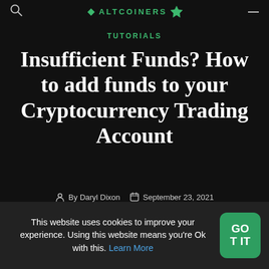TUTORIALS
Insufficient Funds? How to add funds to your Cryptocurrency Trading Account
By Daryl Dixon   September 23, 2021
This website uses cookies to improve your experience. Using this website means you're Ok with this. Learn More